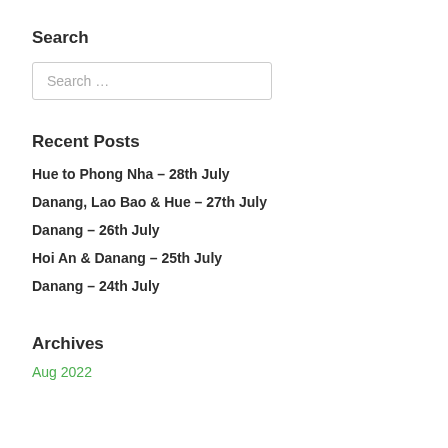Search
Search ...
Recent Posts
Hue to Phong Nha – 28th July
Danang, Lao Bao & Hue – 27th July
Danang – 26th July
Hoi An & Danang – 25th July
Danang – 24th July
Archives
Aug 2022